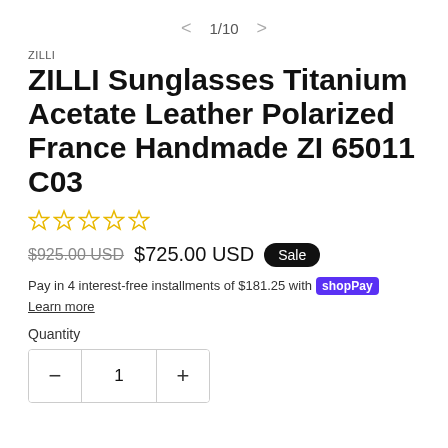< 1/10 >
ZILLI
ZILLI Sunglasses Titanium Acetate Leather Polarized France Handmade ZI 65011 C03
[Figure (other): 5 empty star rating icons in gold/yellow outline]
$925.00 USD  $725.00 USD  Sale
Pay in 4 interest-free installments of $181.25 with shopPay Learn more
Quantity
- 1 +